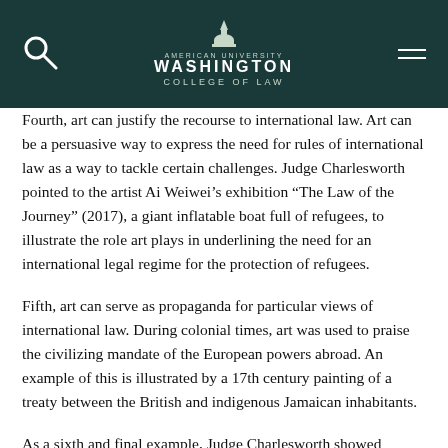American University Washington College of Law
Fourth, art can justify the recourse to international law. Art can be a persuasive way to express the need for rules of international law as a way to tackle certain challenges. Judge Charlesworth pointed to the artist Ai Weiwei’s exhibition “The Law of the Journey” (2017), a giant inflatable boat full of refugees, to illustrate the role art plays in underlining the need for an international legal regime for the protection of refugees.
Fifth, art can serve as propaganda for particular views of international law. During colonial times, art was used to praise the civilizing mandate of the European powers abroad. An example of this is illustrated by a 17th century painting of a treaty between the British and indigenous Jamaican inhabitants.
As a sixth and final example, Judge Charlesworth showed